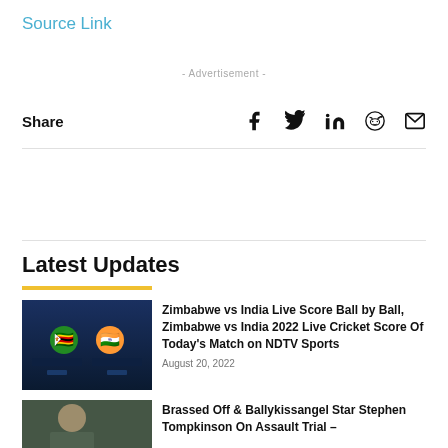Source Link
- Advertisement -
Share
Latest Updates
[Figure (screenshot): Cricket match scoreboard showing Zimbabwe vs India flags on dark blue background]
Zimbabwe vs India Live Score Ball by Ball, Zimbabwe vs India 2022 Live Cricket Score Of Today's Match on NDTV Sports
August 20, 2022
[Figure (photo): Portrait photo of a man outdoors]
Brassed Off & Ballykissangel Star Stephen Tompkinson On Assault Trial –